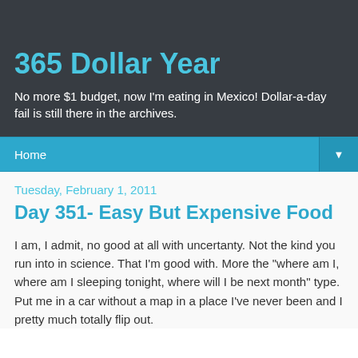365 Dollar Year
No more $1 budget, now I'm eating in Mexico! Dollar-a-day fail is still there in the archives.
Home
Tuesday, February 1, 2011
Day 351- Easy But Expensive Food
I am, I admit, no good at all with uncertanty. Not the kind you run into in science. That I'm good with. More the "where am I, where am I sleeping tonight, where will I be next month" type. Put me in a car without a map in a place I've never been and I pretty much totally flip out.